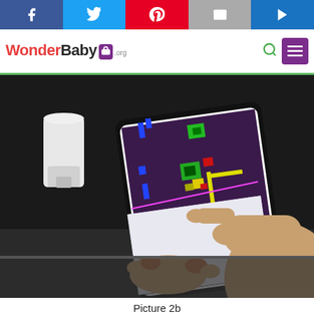WonderBaby.org — social share bar and site navigation header
[Figure (photo): Child's hands holding a tablet displaying a colorful pixel-art / bead pattern app with blue, green, yellow, and red shapes on a dark background. Another hand points at the screen from the right. A white canister is visible in the background on a counter.]
Picture 2b